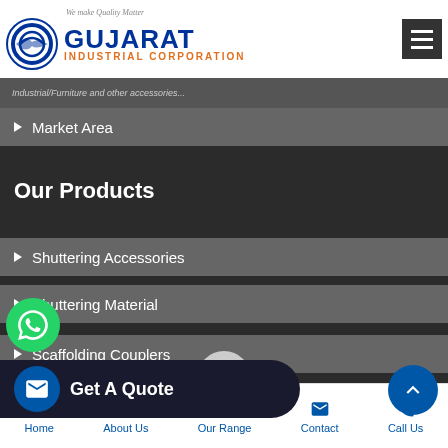[Figure (logo): Gujarat Industrial Corporation logo with blue circular emblem and orange text]
We make Quality Matter
Market Area
Our Products
Shuttering Accessories
Shuttering Material
Scaffolding Couplers
Get A Quote
Scaffolding Material
Home  About Us  Our Range  Contact  Call Us